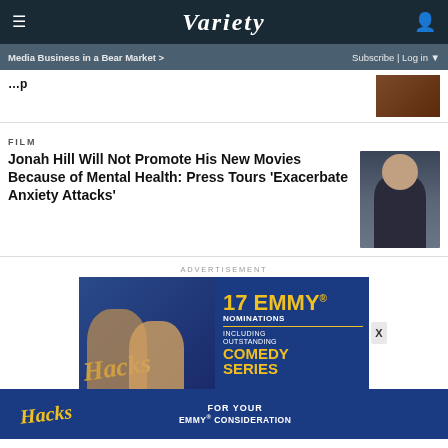VARIETY — Media Business in a Bear Market > | Subscribe | Log in
Jonah Hill Will Not Promote His New Movies Because of Mental Health: Press Tours 'Exacerbate Anxiety Attacks'
FILM
[Figure (photo): Advertisement for Hacks — 17 Emmy Nominations including Outstanding Comedy Series]
[Figure (photo): Advertisement for Hacks — For Your Emmy Consideration]